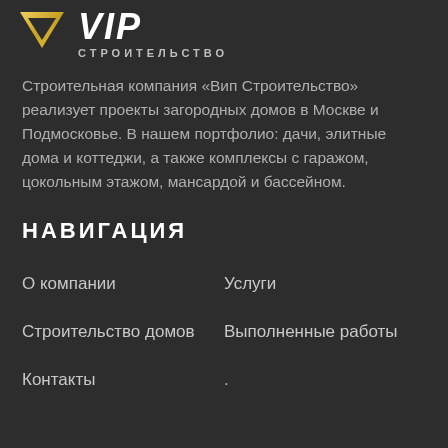[Figure (logo): VIP Строительство logo: gold/yellow downward-pointing triangle (chevron) icon with 'VIP' text in white italic bold and 'СТРОИТЕЛЬСТВО' subtitle in grey below]
Строительная компания «Вип Строительство» реализует проекты загородных домов в Москве и Подмосковье. В нашем портфолио: дачи, элитные дома и коттеджи, а также комплексы с гаражом, цокольным этажом, мансардой и бассейном.
НАВИГАЦИЯ
О компании
Услуги
Строительство домов
Выполненные работы
Контакты
.